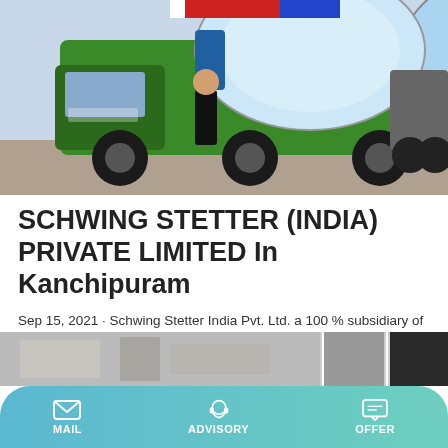[Figure (photo): A man standing in front of a large green self-loading concrete mixer machine (SCHWING STETTER brand) at a construction equipment yard. Other vehicles visible in the background.]
SCHWING STETTER (INDIA) PRIVATE LIMITED In Kanchipuram
Sep 15, 2021 · Schwing Stetter India Pvt. Ltd. a 100 % subsidiary of the Schwing Group of companies and was incorporated in the year 1930. We are the pioneers of Indian Concrete Construction equipment industry catering to the Indian customers with world-class concrete construction equipment.
[Figure (photo): Partial view of another piece of construction equipment or building facade at the bottom of the page.]
MAIL   ADVISORY   OFFER